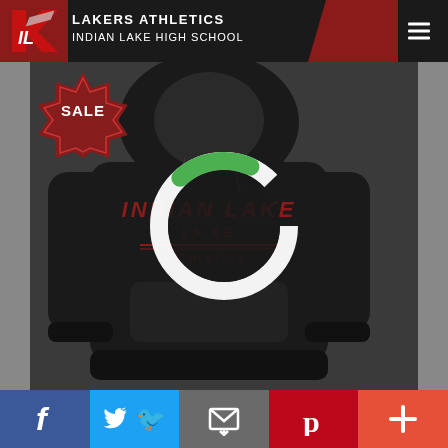LAKERS ATHLETICS INDIAN LAKE HIGH SCHOOL
[Figure (photo): Black hoodie sweatshirt with INDIAN LAKE text design on chest, displayed on dark background. A 'SALE' badge is visible in upper left. A loading spinner (white ring with green arc) is overlaid on the image.]
[Figure (infographic): Social share bar at bottom with Facebook, Twitter, Email, Pinterest, and Plus buttons in respective brand colors.]